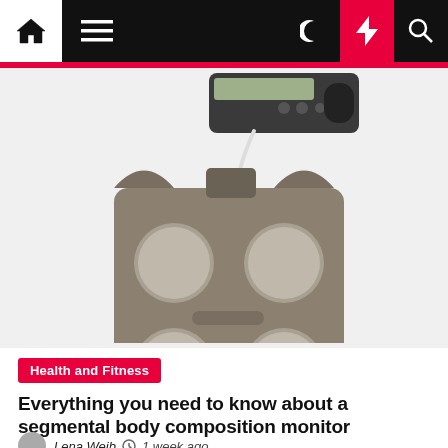Navigation bar with home, menu, dark mode, lightning, and search icons
[Figure (photo): A segmental body composition monitor scale (Omron brand) with four circular electrodes and a handheld unit connected by a white cable, displayed on white background]
Health and Fitness
Everything you need to know about a segmental body composition monitor
Lena Weib  1 week ago